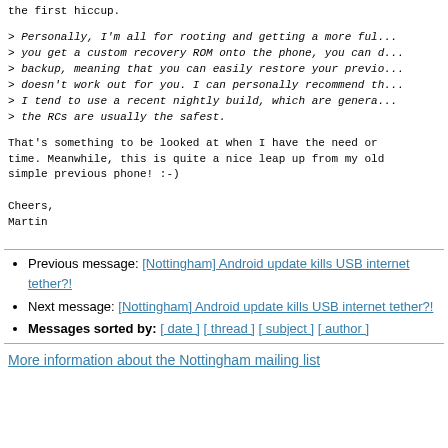the first hiccup.
> Personally, I'm all for rooting and getting a more ful...
> you get a custom recovery ROM onto the phone, you can d...
> backup, meaning that you can easily restore your previo...
> doesn't work out for you. I can personally recommend th...
> I tend to use a recent nightly build, which are genera...
> the RCs are usually the safest.
That's something to be looked at when I have the need or time. Meanwhile, this is quite a nice leap up from my old simple previous phone! :-)
Cheers,
Martin
Previous message: [Nottingham] Android update kills USB internet tether?!
Next message: [Nottingham] Android update kills USB internet tether?!
Messages sorted by: [ date ] [ thread ] [ subject ] [ author ]
More information about the Nottingham mailing list